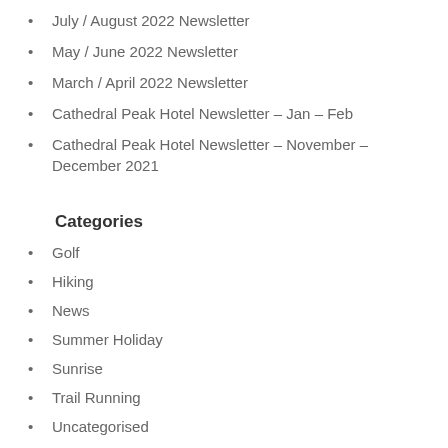July / August 2022 Newsletter
May / June 2022 Newsletter
March / April 2022 Newsletter
Cathedral Peak Hotel Newsletter – Jan – Feb
Cathedral Peak Hotel Newsletter – November – December 2021
Categories
Golf
Hiking
News
Summer Holiday
Sunrise
Trail Running
Uncategorised